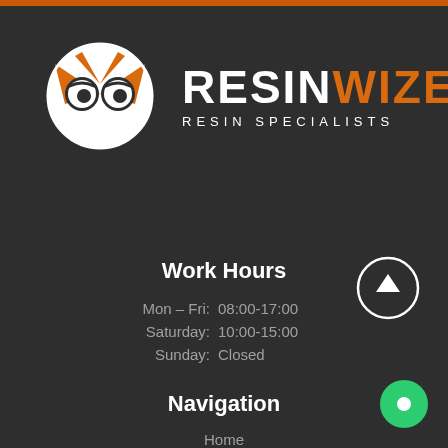[Figure (logo): ResinWize owl logo with white owl face and orange wings/beak, circular design]
RESINWIZE RESIN SPECIALISTS
Work Hours
Mon – Fri:  08:00-17:00
Saturday:  10:00-15:00
Sunday:  Closed
Navigation
Home
About